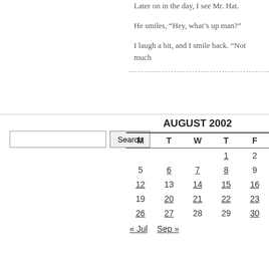Later on in the day, I see Mr. Hat.
He smiles, “Hey, what’s up man?”
I laugh a bit, and I smile back. “Not much
| M | T | W | T | F |
| --- | --- | --- | --- | --- |
|  |  |  | 1 | 2 |
| 5 | 6 | 7 | 8 | 9 |
| 12 | 13 | 14 | 15 | 16 |
| 19 | 20 | 21 | 22 | 23 |
| 26 | 27 | 28 | 29 | 30 |
« Jul   Sep »